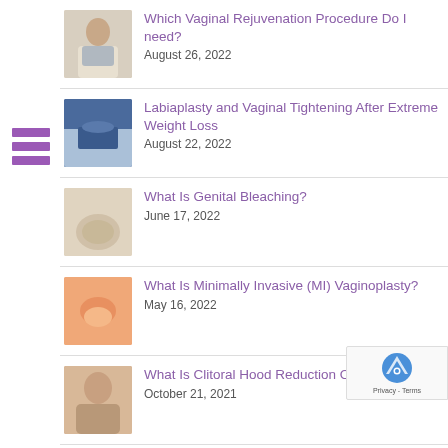[Figure (illustration): Hamburger menu icon - three horizontal purple bars]
Which Vaginal Rejuvenation Procedure Do I need?
August 26, 2022
Labiaplasty and Vaginal Tightening After Extreme Weight Loss
August 22, 2022
What Is Genital Bleaching?
June 17, 2022
What Is Minimally Invasive (MI) Vaginoplasty?
May 16, 2022
What Is Clitoral Hood Reduction Or Hoodectomy?
October 21, 2021
Labiaplasty and Pregnancy | What You Should Know